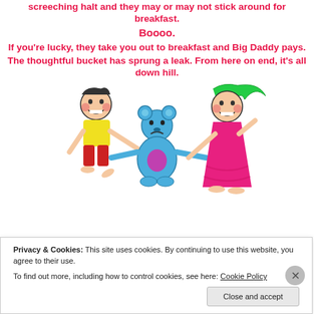screeching halt and they may or may not stick around for breakfast.
Boooo.
If you're lucky, they take you out to breakfast and Big Daddy pays.
The thoughtful bucket has sprung a leak. From here on end, it's all down hill.
[Figure (illustration): Child cartoon drawing: a boy in yellow shirt and red pants on the left, a sad blue teddy bear in the middle being pulled by both, and a girl in a pink dress with green hair on the right. All are stick-figure style with rosy cheeks and big teeth.]
Privacy & Cookies: This site uses cookies. By continuing to use this website, you agree to their use.
To find out more, including how to control cookies, see here: Cookie Policy
Close and accept